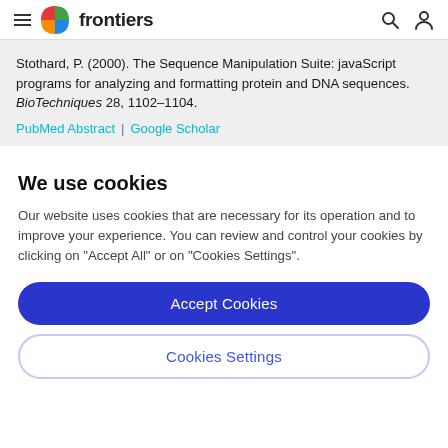frontiers
Stothard, P. (2000). The Sequence Manipulation Suite: javaScript programs for analyzing and formatting protein and DNA sequences. BioTechniques 28, 1102–1104.
PubMed Abstract | Google Scholar
We use cookies
Our website uses cookies that are necessary for its operation and to improve your experience. You can review and control your cookies by clicking on "Accept All" or on "Cookies Settings".
Accept Cookies
Cookies Settings